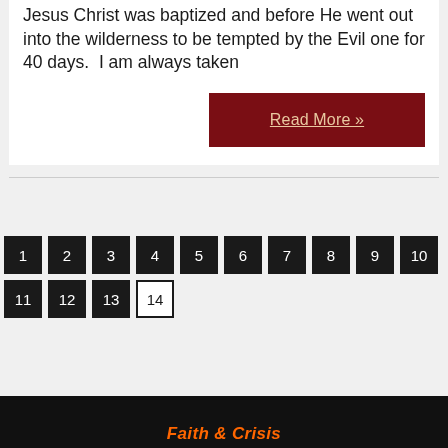Jordan near the place where our Lord Jesus Christ was baptized and before He went out into the wilderness to be tempted by the Evil one for 40 days.  I am always taken
Read More »
1 2 3 4 5 6 7 8 9 10 11 12 13 14
Faith & Crisis